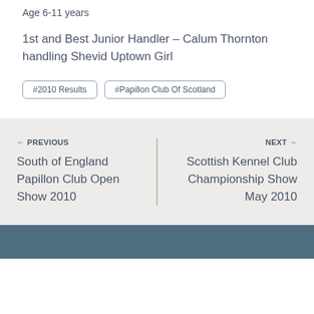Age 6-11 years
1st and Best Junior Handler – Calum Thornton handling Shevid Uptown Girl
#2010 Results
#Papillon Club Of Scotland
← PREVIOUS
South of England Papillon Club Open Show 2010
NEXT →
Scottish Kennel Club Championship Show May 2010